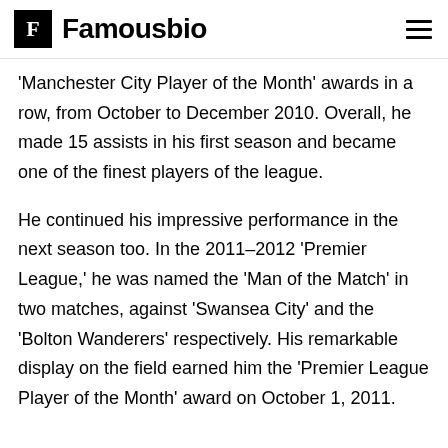Famousbio
'Manchester City Player of the Month' awards in a row, from October to December 2010. Overall, he made 15 assists in his first season and became one of the finest players of the league.
He continued his impressive performance in the next season too. In the 2011–2012 'Premier League,' he was named the 'Man of the Match' in two matches, against 'Swansea City' and the 'Bolton Wanderers' respectively. His remarkable display on the field earned him the 'Premier League Player of the Month' award on October 1, 2011.